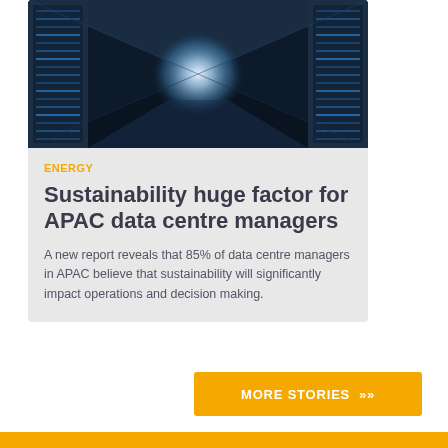[Figure (photo): Data center server room corridor with bright light at the end, rows of server racks with blue lighting on both sides]
ENERGY
Sustainability huge factor for APAC data centre managers
A new report reveals that 85% of data centre managers in APAC believe that sustainability will significantly impact operations and decision making.
MORE STORIES »
[Figure (other): Orange/yellow banner bar at bottom of page]